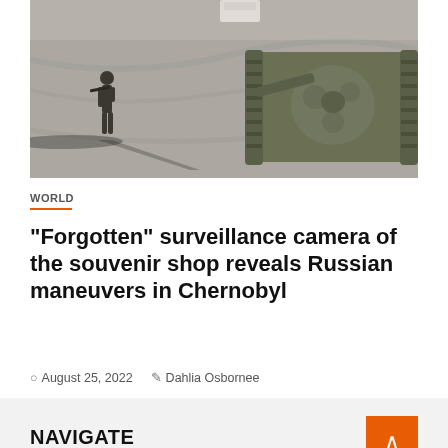[Figure (photo): Aerial view of a soldier walking near a military tank on a gray asphalt surface, with long shadows visible]
WORLD
“Forgotten” surveillance camera of the souvenir shop reveals Russian maneuvers in Chernobyl
August 25, 2022  Dahlia Osbornee
NAVIGATE